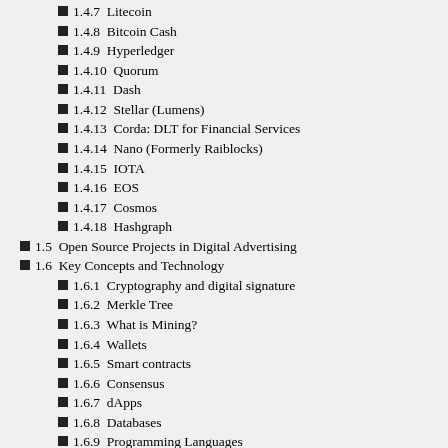1.4.7  Litecoin
1.4.8  Bitcoin Cash
1.4.9  Hyperledger
1.4.10  Quorum
1.4.11  Dash
1.4.12  Stellar (Lumens)
1.4.13  Corda: DLT for Financial Services
1.4.14  Nano (Formerly Raiblocks)
1.4.15  IOTA
1.4.16  EOS
1.4.17  Cosmos
1.4.18  Hashgraph
1.5  Open Source Projects in Digital Advertising
1.6  Key Concepts and Technology
1.6.1  Cryptography and digital signature
1.6.2  Merkle Tree
1.6.3  What is Mining?
1.6.4  Wallets
1.6.5  Smart contracts
1.6.6  Consensus
1.6.7  dApps
1.6.8  Databases
1.6.9  Programming Languages
1.6.10  Technologies
1.7  Actors
1.8  Controversies